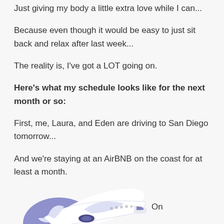Just giving my body a little extra love while I can...
Because even though it would be easy to just sit back and relax after last week...
The reality is, I've got a LOT going on.
Here's what my schedule looks like for the next month or so:
First, me, Laura, and Eden are driving to San Diego tomorrow...
And we're staying at an AirBNB on the coast for at least a month.
[Figure (illustration): Cartoon illustration of a white commercial airplane flying with purple/blue cloud and decorative elements in the lower left area of the page]
On